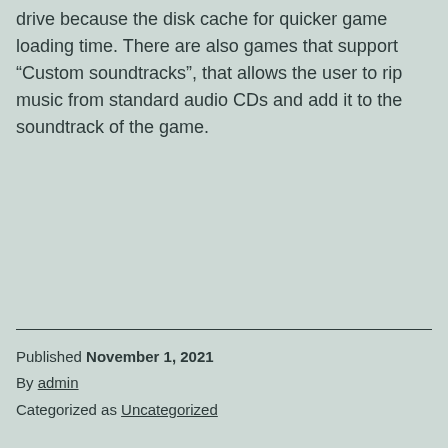drive because the disk cache for quicker game loading time. There are also games that support “Custom soundtracks”, that allows the user to rip music from standard audio CDs and add it to the soundtrack of the game.
Published November 1, 2021
By admin
Categorized as Uncategorized